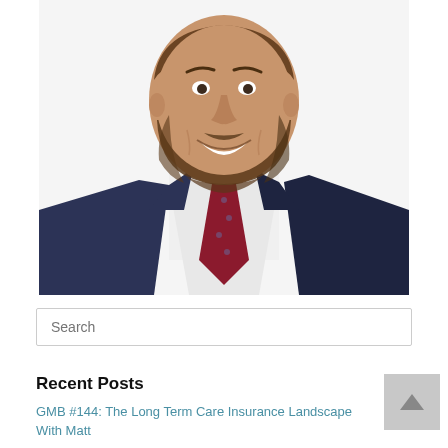[Figure (photo): Professional headshot of a smiling man with a beard wearing a dark navy suit, white dress shirt, and a dark red/maroon patterned tie, against a white background.]
Search
Recent Posts
GMB #144: The Long Term Care Insurance Landscape With Matt